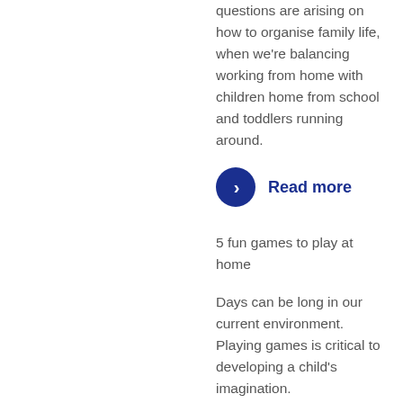questions are arising on how to organise family life, when we're balancing working from home with children home from school and toddlers running around.
Read more
5 fun games to play at home
Days can be long in our current environment. Playing games is critical to developing a child's imagination.